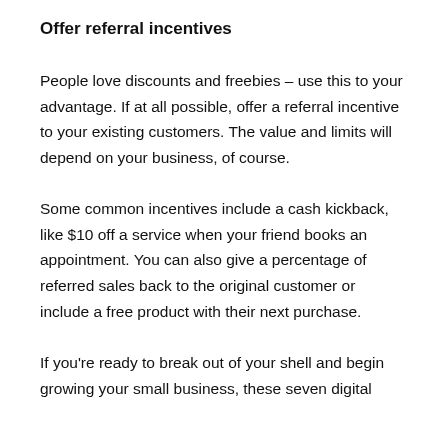Offer referral incentives
People love discounts and freebies – use this to your advantage. If at all possible, offer a referral incentive to your existing customers. The value and limits will depend on your business, of course.
Some common incentives include a cash kickback, like $10 off a service when your friend books an appointment. You can also give a percentage of referred sales back to the original customer or include a free product with their next purchase.
If you're ready to break out of your shell and begin growing your small business, these seven digital